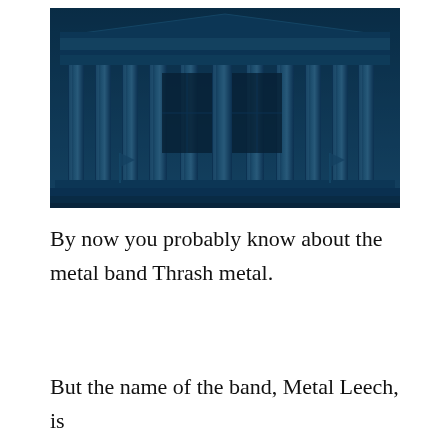[Figure (photo): Blue-tinted photograph of a neoclassical building facade with tall columns, likely a stock exchange or government building. Flags visible at the lower portion.]
By now you probably know about the metal band Thrash metal.
But the name of the band, Metal Leech, is